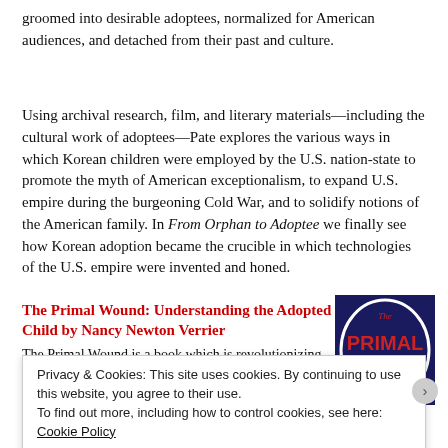groomed into desirable adoptees, normalized for American audiences, and detached from their past and culture.
Using archival research, film, and literary materials—including the cultural work of adoptees—Pate explores the various ways in which Korean children were employed by the U.S. nation-state to promote the myth of American exceptionalism, to expand U.S. empire during the burgeoning Cold War, and to solidify notions of the American family. In From Orphan to Adoptee we finally see how Korean adoption became the crucible in which technologies of the U.S. empire were invented and honed.
The Primal Wound: Understanding the Adopted Child by Nancy Newton Verrier
The Primal Wound is a book which is revolutionizing the way we think about adoption.
[Figure (photo): Book cover of The Primal Wound showing the title in bold red letters on a dark background with a circular design.]
Privacy & Cookies: This site uses cookies. By continuing to use this website, you agree to their use.
To find out more, including how to control cookies, see here: Cookie Policy
Close and accept